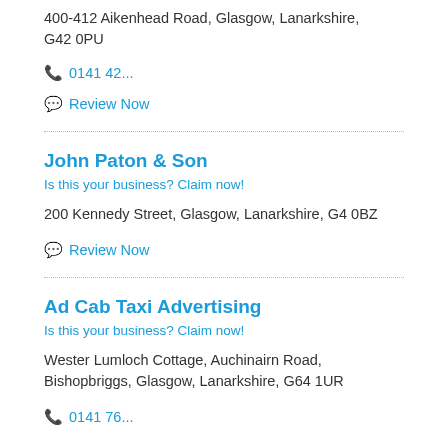400-412 Aikenhead Road, Glasgow, Lanarkshire, G42 0PU
📞 0141 42...
💬 Review Now
John Paton & Son
Is this your business? Claim now!
200 Kennedy Street, Glasgow, Lanarkshire, G4 0BZ
💬 Review Now
Ad Cab Taxi Advertising
Is this your business? Claim now!
Wester Lumloch Cottage, Auchinairn Road, Bishopbriggs, Glasgow, Lanarkshire, G64 1UR
📞 0141 76...